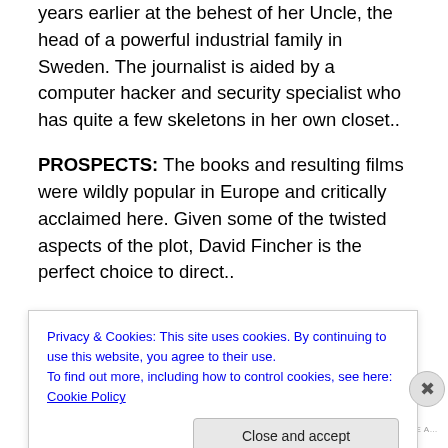years earlier at the behest of her Uncle, the head of a powerful industrial family in Sweden. The journalist is aided by a computer hacker and security specialist who has quite a few skeletons in her own closet..
PROSPECTS: The books and resulting films were wildly popular in Europe and critically acclaimed here. Given some of the twisted aspects of the plot, David Fincher is the perfect choice to direct..
OBSTACLES: The book is more raw than American audiences are used to, with a graphic rape and twisted
Privacy & Cookies: This site uses cookies. By continuing to use this website, you agree to their use.
To find out more, including how to control cookies, see here: Cookie Policy
Close and accept